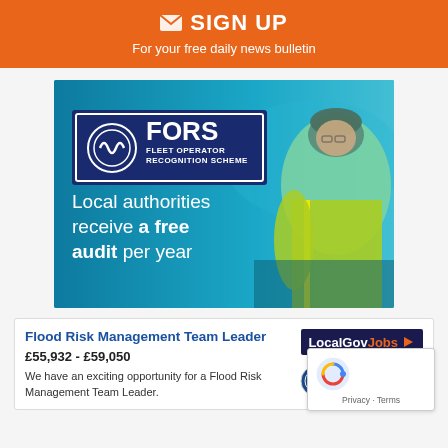✉ SIGN UP
For your free daily news bulletin
[Figure (illustration): FORS Fleet Operator Recognition Scheme advertisement. Blue background with a man in high-vis jacket and beanie hat in a vehicle cab. FORS logo with text 'FLEET OPERATOR RECOGNITION SCHEME'. Text reads: Local authorities receive a free audit per year]
Flood Risk Management Team Leader
£55,932 - £59,050
We have an exciting opportunity for a Flood Risk Management Team Leader.
[Figure (logo): LocalGovJobs logo - dark navy background with orange 'Jobs' text and arrow icon]
[Figure (logo): Oxfordshire County Council logo - circular emblem with text OXFORDSHIRE COUNTY COUNCIL]